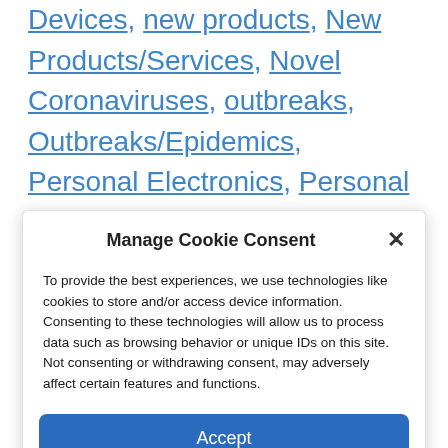Devices, new products, New Products/Services, Novel Coronaviruses, outbreaks, Outbreaks/Epidemics, Personal Electronics, Personal Technology, Political/General News, Politics, products, Products/Services, recommendation, Respiratory Tract Diseases, services, smart
Manage Cookie Consent
To provide the best experiences, we use technologies like cookies to store and/or access device information. Consenting to these technologies will allow us to process data such as browsing behavior or unique IDs on this site. Not consenting or withdrawing consent, may adversely affect certain features and functions.
Accept
Cookie Policy